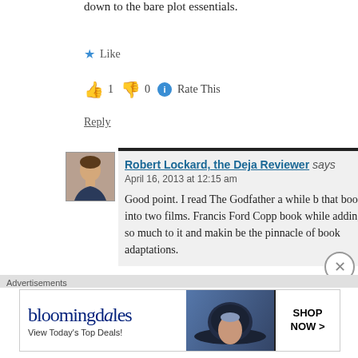down to the bare plot essentials.
★ Like
👍 1  👎 0  ℹ Rate This
Reply
[Figure (photo): Avatar photo of Robert Lockard, a man in business attire]
Robert Lockard, the Deja Reviewer says
April 16, 2013 at 12:15 am
Good point. I read The Godfather a while b... that book into two films. Francis Ford Copp... book while adding so much to it and makin... be the pinnacle of book adaptations.
Advertisements
[Figure (screenshot): Bloomingdale's advertisement banner - View Today's Top Deals! SHOP NOW >]